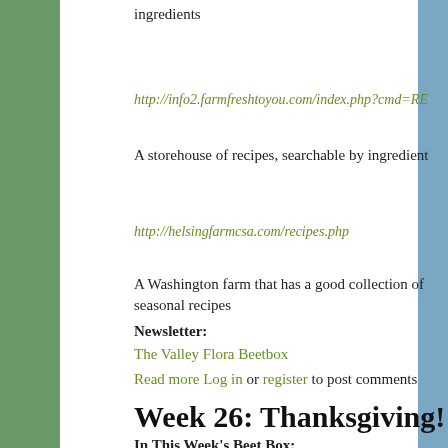ingredients
http://info2.farmfreshtoyou.com/index.php?cmd=RE
A storehouse of recipes, searchable by ingredient
http://helsingfarmcsa.com/recipes.php
A Washington farm that has a good collection of seasonal recipes
Newsletter:
The Valley Flora Beetbox
Read more   Log in or register to post comments
Week 26: Thanksgiving!
In This Week's Beet Box: